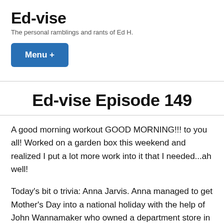Ed-vise
The personal ramblings and rants of Ed H.
Menu +
Ed-vise Episode 149
A good morning workout GOOD MORNING!!! to you all! Worked on a garden box this weekend and realized I put a lot more work into it that I needed...ah well!
Today's bit o trivia: Anna Jarvis. Anna managed to get Mother's Day into a national holiday with the help of John Wannamaker who owned a department store in Philadelphia. Anna wanted the day to be a somewhat